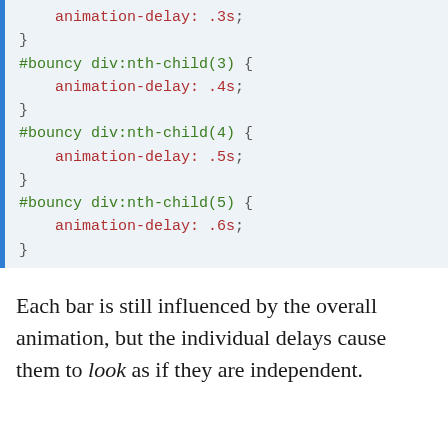[Figure (screenshot): Code block showing CSS animation-delay rules for #bouncy div:nth-child(2) through (5) with delays .3s through .6s]
Each bar is still influenced by the overall animation, but the individual delays cause them to look as if they are independent.